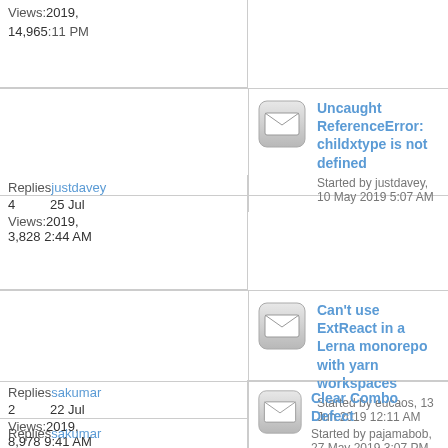Views:2019,
14,965:11 PM
Uncaught ReferenceError: childxtype is not defined
Started by justdavey, 10 May 2019 5:07 AM
Replies justdavey
4  25 Jul
Views:2019,
3,828 2:44 AM
Can't use ExtReact in a Lerna monorepo with yarn workspaces
Started by eucaos, 13 Jun 2019 12:11 AM
Replies sakumar
2  22 Jul
Views:2019,
8,978 9:41 AM
Clear Combo Defect
Started by pajamabob, 27 May 2019 3:07 PM
Replies sakumar